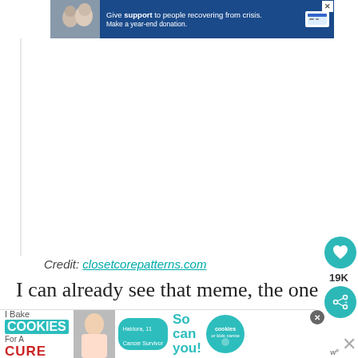[Figure (screenshot): Top advertisement banner with blue background, showing text 'Give support to people recovering from crisis. Make a year-end donation.' with a photo of two people and a credit card icon. Close X button in top right.]
[Figure (photo): Large white/blank content area (main article image area, appears blank/white in this crop)]
Credit: closetcorepatterns.com
I can already see that meme, the one w...
[Figure (screenshot): Bottom advertisement: 'I Bake COOKIES For A CURE' with photo of girl, 'So can you!' text and cookies for kids cancer logo with close buttons.]